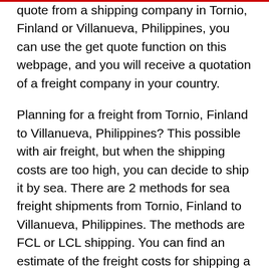quote from a shipping company in Tornio, Finland or Villanueva, Philippines, you can use the get quote function on this webpage, and you will receive a quotation of a freight company in your country.
Planning for a freight from Tornio, Finland to Villanueva, Philippines? This possible with air freight, but when the shipping costs are too high, you can decide to ship it by sea. There are 2 methods for sea freight shipments from Tornio, Finland to Villanueva, Philippines. The methods are FCL or LCL shipping. You can find an estimate of the freight costs for shipping a container of 20ft or 40ft.
Planning a 20ft or 40ft container freight from Tornio, Finland to Villanueva, Philippines? This possible with air freight, but when the shipping costs are too high